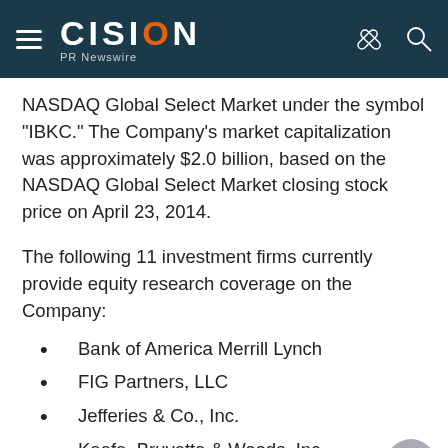CISION PR Newswire
NASDAQ Global Select Market under the symbol "IBKC."  The Company's market capitalization was approximately $2.0 billion, based on the NASDAQ Global Select Market closing stock price on April 23, 2014.
The following 11 investment firms currently provide equity research coverage on the Company:
Bank of America Merrill Lynch
FIG Partners, LLC
Jefferies & Co., Inc.
Keefe, Bruyette & Woods, Inc.